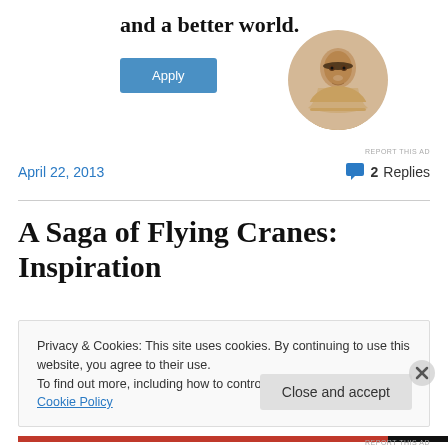and a better world.
[Figure (photo): Apply button for an advertisement]
[Figure (photo): Circular photo of a man thinking at a desk]
REPORT THIS AD
April 22, 2013
2 Replies
A Saga of Flying Cranes: Inspiration
Privacy & Cookies: This site uses cookies. By continuing to use this website, you agree to their use.
To find out more, including how to control cookies, see here: Cookie Policy
Close and accept
REPORT THIS AD